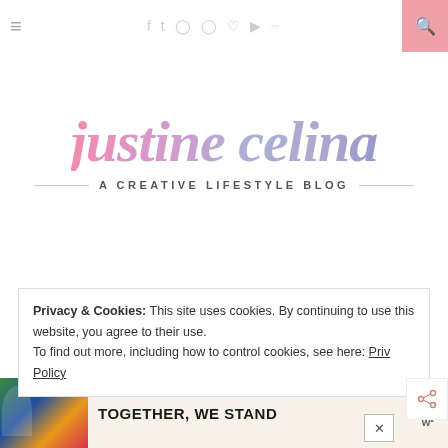≡  f  t  ◯  ⊕  ♥  ▶  )))  🔍
[Figure (logo): Justine Celina - A Creative Lifestyle Blog logo. Script font in pink-to-purple gradient with tagline underneath.]
Privacy & Cookies: This site uses cookies. By continuing to use this website, you agree to their use.
To find out more, including how to control cookies, see here: Privacy Policy
[Figure (infographic): Ad banner: colorful illustration on left with text TOGETHER, WE STAND in bold black letters on beige background.]